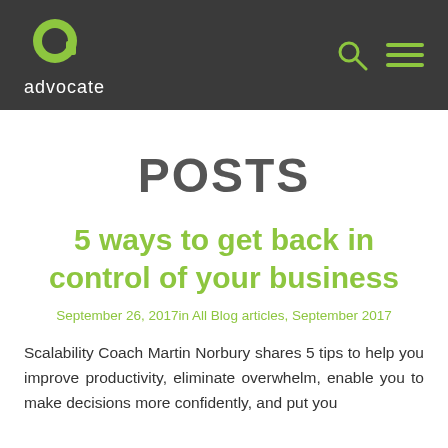[Figure (logo): Advocate logo: green 'a' icon above the word 'advocate' in white, with search and hamburger menu icons on the right, all on a dark grey header bar]
POSTS
5 ways to get back in control of your business
September 26, 2017in All Blog articles, September 2017
Scalability Coach Martin Norbury shares 5 tips to help you improve productivity, eliminate overwhelm, enable you to make decisions more confidently, and put you